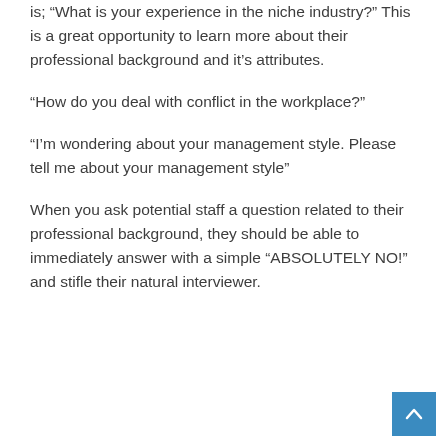is; “What is your experience in the niche industry?” This is a great opportunity to learn more about their professional background and it’s attributes.
“How do you deal with conflict in the workplace?”
“I’m wondering about your management style. Please tell me about your management style”
When you ask potential staff a question related to their professional background, they should be able to immediately answer with a simple “ABSOLUTELY NO!” and stifle their natural interviewer.